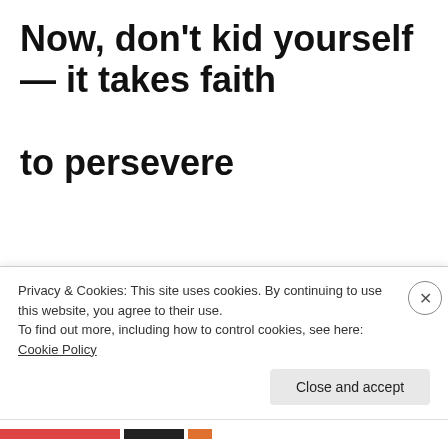Now, don’t kid yourself — it takes faith to persevere through the impasse and die to your flesh. The same faith that causes you to be exalted in
Privacy & Cookies: This site uses cookies. By continuing to use this website, you agree to their use.
To find out more, including how to control cookies, see here: Cookie Policy
Close and accept